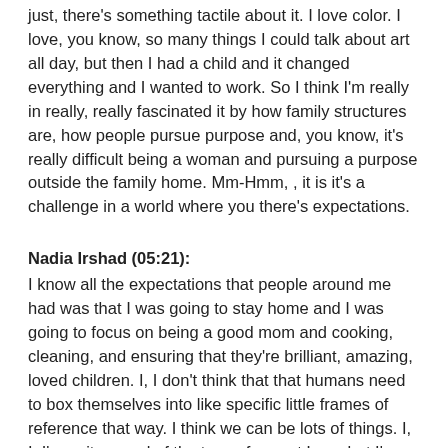just, there's something tactile about it. I love color. I love, you know, so many things I could talk about art all day, but then I had a child and it changed everything and I wanted to work. So I think I'm really in really, really fascinated it by how family structures are, how people pursue purpose and, you know, it's really difficult being a woman and pursuing a purpose outside the family home. Mm-Hmm, , it is it's a challenge in a world where you there's expectations.
Nadia Irshad (05:21):
I know all the expectations that people around me had was that I was going to stay home and I was going to focus on being a good mom and cooking, cleaning, and ensuring that they're brilliant, amazing, loved children. I, I don't think that that humans need to box themselves into like specific little frames of reference that way. I think we can be lots of things. I, I, I'm quite proud of the type of parent I am, but I'm not the type of person that